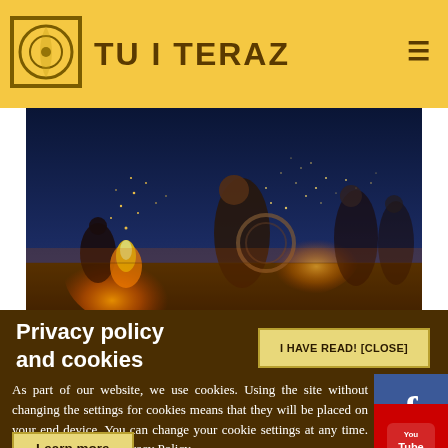TU I TERAZ
[Figure (photo): Night scene with people in tribal/warrior costumes around fire with sparks flying, dramatic orange and blue lighting]
Privacy policy and cookies
I HAVE READ! [CLOSE]
As part of our website, we use cookies. Using the site without changing the settings for cookies means that they will be placed on your end device. You can change your cookie settings at any time. More details in our Privacy Policy.
Learn more